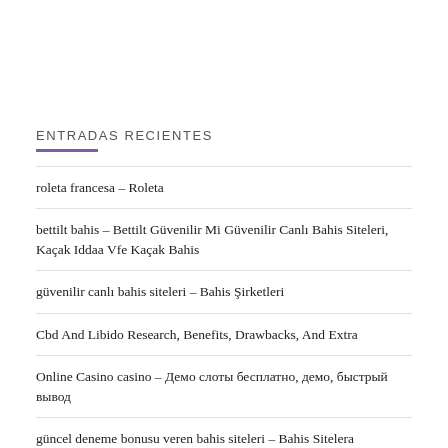ENTRADAS RECIENTES
roleta francesa – Roleta
bettilt bahis – Bettilt Güvenilir Mi Güvenilir Canlı Bahis Siteleri, Kaçak Iddaa Vfe Kaçak Bahis
güvenilir canlı bahis siteleri – Bahis Şirketleri
Cbd And Libido Research, Benefits, Drawbacks, And Extra
Online Casino casino – Демо слоты бесплатно, демо, быстрый вывод
güncel deneme bonusu veren bahis siteleri – Bahis Sitelera